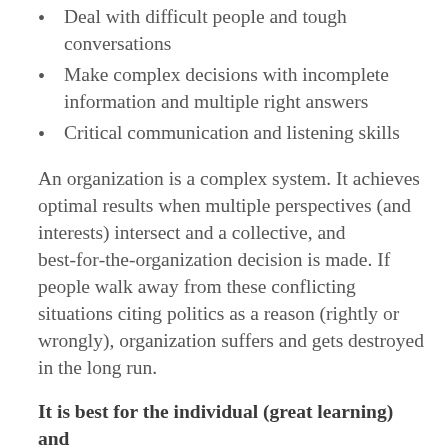Deal with difficult people and tough conversations
Make complex decisions with incomplete information and multiple right answers
Critical communication and listening skills
An organization is a complex system. It achieves optimal results when multiple perspectives (and interests) intersect and a collective, and best-for-the-organization decision is made. If people walk away from these conflicting situations citing politics as a reason (rightly or wrongly), organization suffers and gets destroyed in the long run.
It is best for the individual (great learning) and